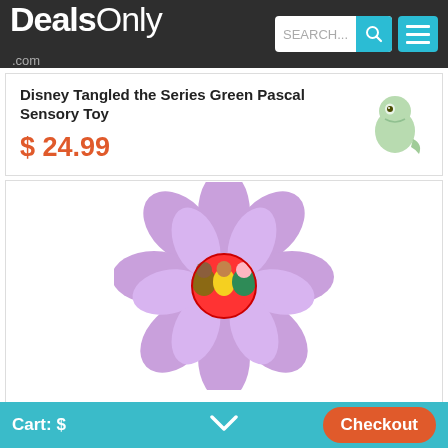DealsOnly.com
Disney Tangled the Series Green Pascal Sensory Toy
$ 24.99
[Figure (photo): Green Pascal character toy from Tangled the Series]
[Figure (photo): Disney Princess Purple Flower Hair Clip Accessory with princess characters in center]
Disney Princess Purple Flower Hair Clip Accessory for Girls
Cart: $   Checkout